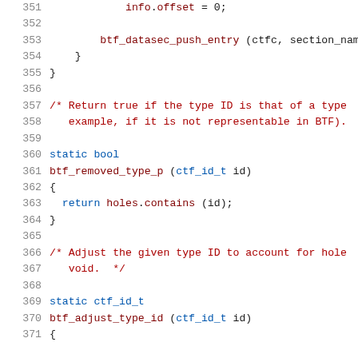Source code snippet, lines 351-371, C programming language
351     info.offset = 0;
352
353         btf_datasec_push_entry (ctfc, section_nam
354     }
355 }
356
357 /* Return true if the type ID is that of a type
358     example, if it is not representable in BTF).
359
360 static bool
361 btf_removed_type_p (ctf_id_t id)
362 {
363   return holes.contains (id);
364 }
365
366 /* Adjust the given type ID to account for hole
367     void.  */
368
369 static ctf_id_t
370 btf_adjust_type_id (ctf_id_t id)
371 {